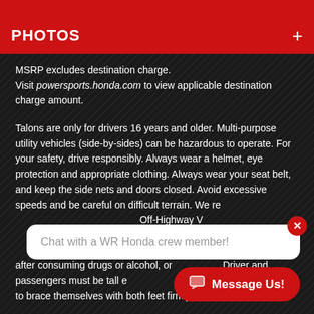PHOTOS +
MSRP excludes destination charge. Visit powersports.honda.com to view applicable destination charge amount.
Talons are only for drivers 16 years and older. Multi-purpose utility vehicles (side-by-sides) can be hazardous to operate. For your safety, drive responsibly. Always wear a helmet, eye protection and appropriate clothing. Always wear your seat belt, and keep the side nets and doors closed. Avoid excessive speeds and be careful on difficult terrain. We re[commend completing the Recreational Off-Highway V[ehicle Association safety course,] available at w[ww.rohva.org. Read and understand the] owner's manual before operating the vehicle. Never drive after consuming drugs or alcohol, or [if fatigued.] Driver and passengers must be tall e[nough for seat belts to] fit properly and to brace themselves with both feet firmly [on the floor.]